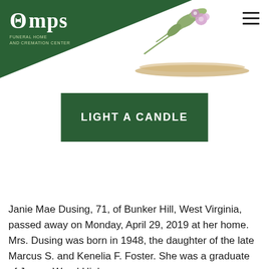Omps Funeral Home and Cremation Center
LIGHT A CANDLE
Janie Mae Dusing, 71, of Bunker Hill, West Virginia, passed away on Monday, April 29, 2019 at her home. Mrs. Dusing was born in 1948, the daughter of the late Marcus S. and Kenelia F. Foster. She was a graduate of James Wood High